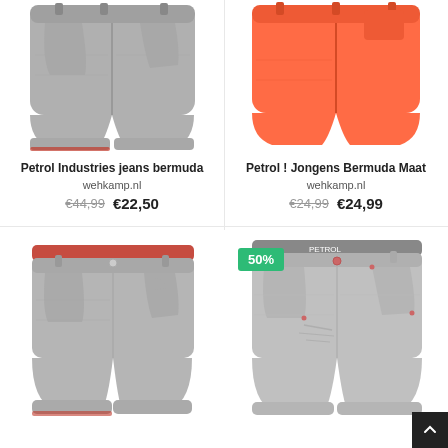[Figure (photo): Grey denim bermuda shorts (Petrol Industries), folded cuffs, product photo on white background]
Petrol Industries jeans bermuda
wehkamp.nl
€44,99  €22,50
[Figure (photo): Orange/coral bermuda shorts (Petrol), product photo on white background]
Petrol ! Jongens Bermuda Maat
wehkamp.nl
€24,99  €24,99
[Figure (photo): Grey denim bermuda shorts with checked waistband lining, product photo]
[Figure (photo): Grey denim bermuda shorts (Petrol), distressed, 50% badge, product photo]